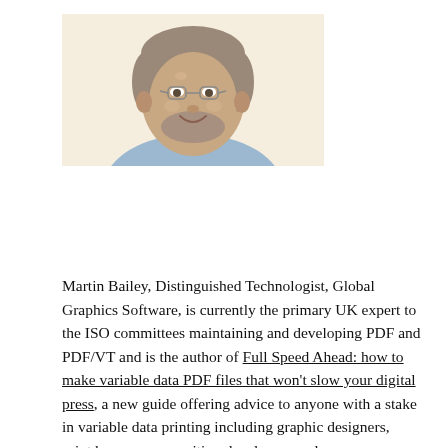[Figure (photo): Headshot photo of Martin Bailey, a middle-aged man with short grey hair and a beard, wearing a light blue shirt, smiling, against a light background.]
Martin Bailey, Distinguished Technologist, Global Graphics Software, is currently the primary UK expert to the ISO committees maintaining and developing PDF and PDF/VT and is the author of Full Speed Ahead: how to make variable data PDF files that won't slow your digital press, a new guide offering advice to anyone with a stake in variable data printing including graphic designers, print buyers, composition developers and